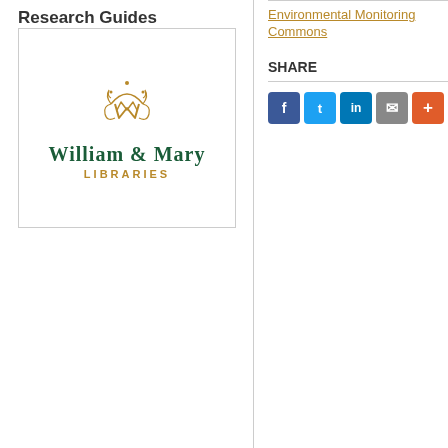Research Guides
[Figure (logo): William & Mary Libraries logo with gold monogram crown symbol, green text 'WILLIAM & MARY' and gold text 'LIBRARIES']
Environmental Monitoring Commons
SHARE